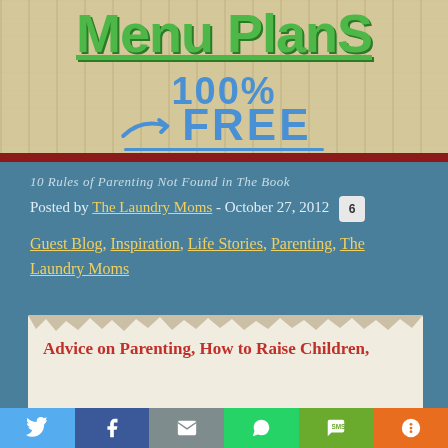[Figure (screenshot): Website banner with wooden background showing 'Menu PlanS' in green, '100%' and '→ FREE' in blue handwritten style text]
10 Rules of Parenting Not Found in The Book
Posted by The Laundry Moms - October 27, 2012
Guest Blog, Inspiration, Life Stories, Parenting, The Laundry Moms
Advice on Parenting, How to Raise Children,
Social share bar: Twitter, Facebook, Email, WhatsApp, SMS, More